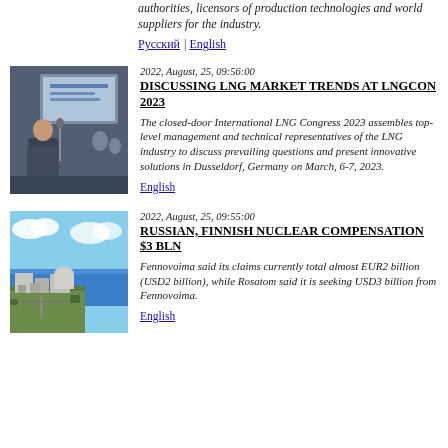authorities, licensors of production technologies and world suppliers for the industry.
Русский | English
2022, August, 25, 09:56:00
DISCUSSING LNG MARKET TRENDS AT LNGCON 2023
The closed-door International LNG Congress 2023 assembles top-level management and technical representatives of the LNG industry to discuss prevailing questions and present innovative solutions in Dusseldorf, Germany on March, 6-7, 2023.
English
[Figure (photo): Man speaking at a conference podium with a presentation screen in background]
2022, August, 25, 09:55:00
RUSSIAN, FINNISH NUCLEAR COMPENSATION $3 BLN
Fennovoima said its claims currently total almost EUR2 billion (USD2 billion), while Rosatom said it is seeking USD3 billion from Fennovoima.
English
[Figure (photo): Aerial view of a nuclear or industrial plant near coastline with blue sky]